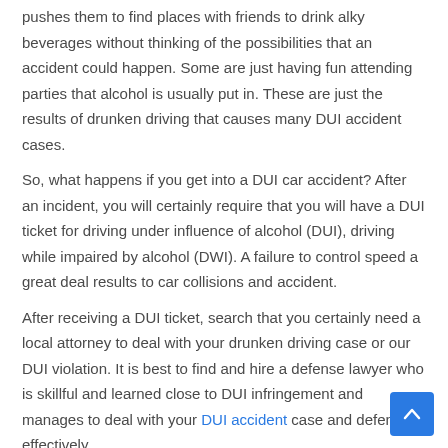pushes them to find places with friends to drink alky beverages without thinking of the possibilities that an accident could happen. Some are just having fun attending parties that alcohol is usually put in. These are just the results of drunken driving that causes many DUI accident cases.
So, what happens if you get into a DUI car accident? After an incident, you will certainly require that you will have a DUI ticket for driving under influence of alcohol (DUI), driving while impaired by alcohol (DWI). A failure to control speed a great deal results to car collisions and accident.
After receiving a DUI ticket, search that you certainly need a local attorney to deal with your drunken driving case or our DUI violation. It is best to find and hire a defense lawyer who is skillful and learned close to DUI infringement and manages to deal with your DUI accident case and defend it effectively.